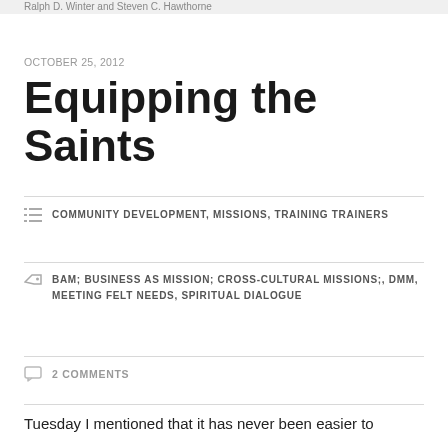Ralph D. Winter and Steven C. Hawthorne
OCTOBER 25, 2012
Equipping the Saints
COMMUNITY DEVELOPMENT, MISSIONS, TRAINING TRAINERS
BAM; BUSINESS AS MISSION; CROSS-CULTURAL MISSIONS;, DMM, MEETING FELT NEEDS, SPIRITUAL DIALOGUE
2 COMMENTS
Tuesday I mentioned that it has never been easier to